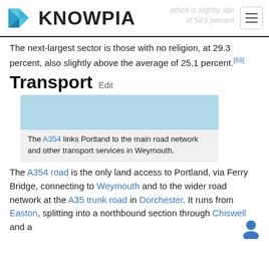KNOWPIA
The next-largest sector is those with no religion, at 29.3 percent, also slightly above the average of 25.1 percent.[69]
Transport Edit
[Figure (photo): Light blue teal image placeholder for a transport-related photo]
The A354 links Portland to the main road network and other transport services in Weymouth.
The A354 road is the only land access to Portland, via Ferry Bridge, connecting to Weymouth and to the wider road network at the A35 trunk road in Dorchester. It runs from Easton, splitting into a northbound section through Chiswell and a